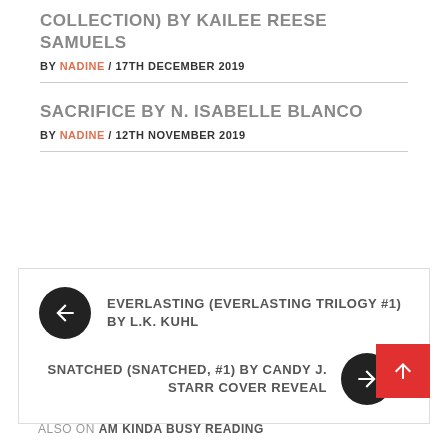(COLLECTION) BY KAILEE REESE SAMUELS
BY NADINE / 17TH DECEMBER 2019
SACRIFICE BY N. ISABELLE BLANCO
BY NADINE / 12TH NOVEMBER 2019
← EVERLASTING (EVERLASTING TRILOGY #1) BY L.K. KUHL
SNATCHED (SNATCHED, #1) BY CANDY J. STARR COVER REVEAL →
ALSO ON AM KINDA BUSY READING